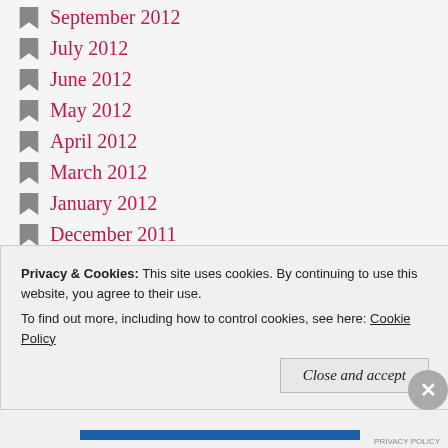September 2012
July 2012
June 2012
May 2012
April 2012
March 2012
January 2012
December 2011
November 2011
October 2011
May 2011
April 2011
February 2011
Privacy & Cookies: This site uses cookies. By continuing to use this website, you agree to their use. To find out more, including how to control cookies, see here: Cookie Policy
Close and accept